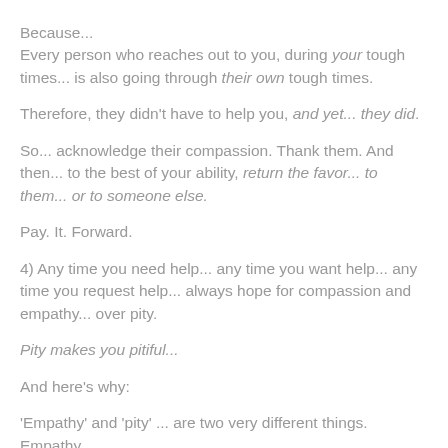Because... Every person who reaches out to you, during your tough times... is also going through their own tough times.
Therefore, they didn't have to help you, and yet... they did.
So... acknowledge their compassion. Thank them. And then... to the best of your ability, return the favor... to them... or to someone else.
Pay. It. Forward.
4) Any time you need help... any time you want help... any time you request help... always hope for compassion and empathy... over pity.
Pity makes you pitiful...
And here's why:
'Empathy' and 'pity' ... are two very different things. Empathy